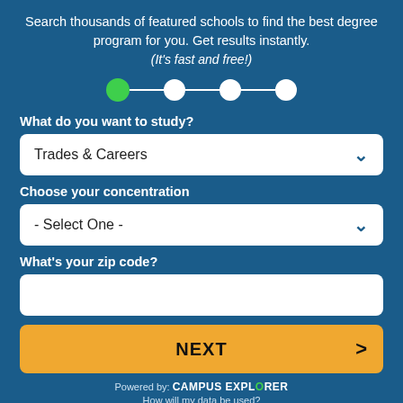Search thousands of featured schools to find the best degree program for you. Get results instantly. (It's fast and free!)
[Figure (infographic): Step progress indicator with 4 dots connected by lines; first dot is green (active), remaining three are white]
What do you want to study?
Trades & Careers
Choose your concentration
- Select One -
What's your zip code?
NEXT
Powered by: CAMPUS EXPLORER
How will my data be used?